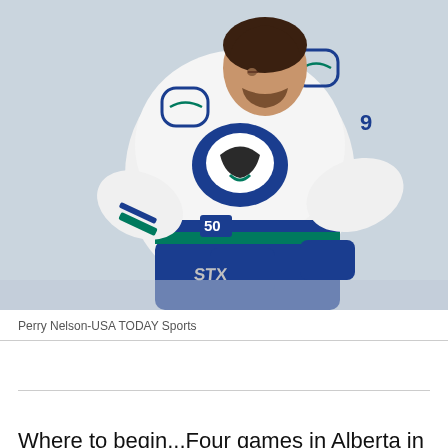[Figure (photo): Hockey player wearing Vancouver Canucks white jersey number 9 with blue and green details, STX gloves, leaning forward on ice]
Perry Nelson-USA TODAY Sports
Where to begin...Four games in Alberta in a week would tire me out. But the Canucks looked tired in